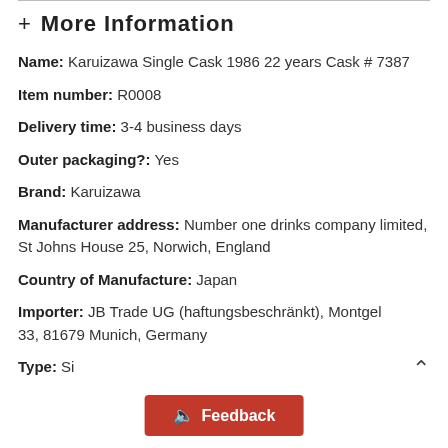+ More Information
Name: Karuizawa Single Cask 1986 22 years Cask # 7387
Item number: R0008
Delivery time: 3-4 business days
Outer packaging?: Yes
Brand: Karuizawa
Manufacturer address: Number one drinks company limited, St Johns House 25, Norwich, England
Country of Manufacture: Japan
Importer: JB Trade UG (haftungsbeschränkt), Montgel 33, 81679 Munich, Germany
Type: Si...
[Figure (other): Feedback button overlay in red with speaker icon]